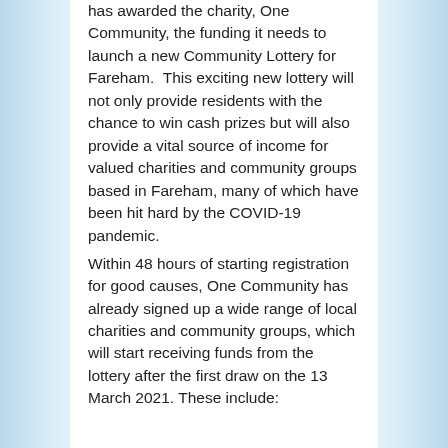has awarded the charity, One Community, the funding it needs to launch a new Community Lottery for Fareham. This exciting new lottery will not only provide residents with the chance to win cash prizes but will also provide a vital source of income for valued charities and community groups based in Fareham, many of which have been hit hard by the COVID-19 pandemic.
Within 48 hours of starting registration for good causes, One Community has already signed up a wide range of local charities and community groups, which will start receiving funds from the lottery after the first draw on the 13 March 2021. These include: